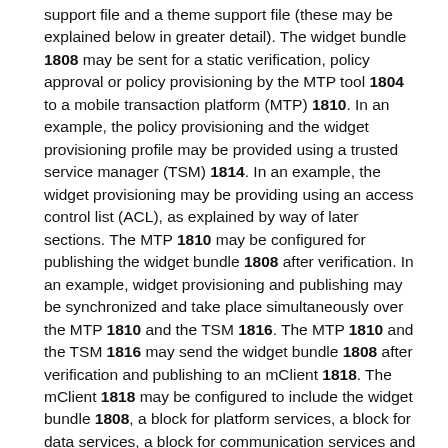support file and a theme support file (these may be explained below in greater detail). The widget bundle 1808 may be sent for a static verification, policy approval or policy provisioning by the MTP tool 1804 to a mobile transaction platform (MTP) 1810. In an example, the policy provisioning and the widget provisioning profile may be provided using a trusted service manager (TSM) 1814. In an example, the widget provisioning may be providing using an access control list (ACL), as explained by way of later sections. The MTP 1810 may be configured for publishing the widget bundle 1808 after verification. In an example, widget provisioning and publishing may be synchronized and take place simultaneously over the MTP 1810 and the TSM 1816. The MTP 1810 and the TSM 1816 may send the widget bundle 1808 after verification and publishing to an mClient 1818. The mClient 1818 may be configured to include the widget bundle 1808, a block for platform services, a block for data services, a block for communication services and a block for a secure element. The mClient 1818 may define a runtime footprint for the widget bundle 1808. The mClient may be explained later by way of FIG. 21.
In an example, the distribution and/or deployment of a...